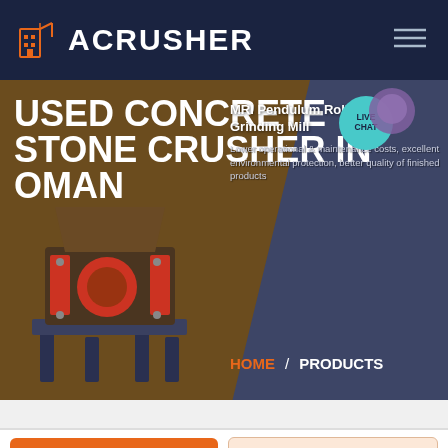ACRUSHER
USED CONCRETE STONE CRUSHER IN OMAN
[Figure (screenshot): Product popup showing MRI Pendulum Roller Grinding Mill with description: Lower operational & maintenance costs, excellent environmental protection, better quality of finished products]
[Figure (photo): Stone crusher machine industrial equipment photo]
MRI Pendulum Roller Grinding Mill
Lower operational & maintenance costs, excellent environmental protection, better quality of finished products
HOME / PRODUCTS
Get a Quote
WhatsApp